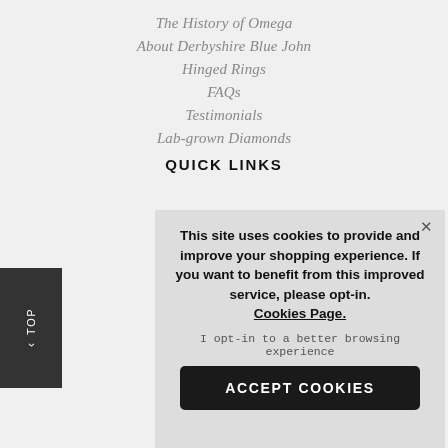The History of Omega
About Derbyshire Blue John
Hinged Rings
FAQs
Testimonials
Lab-grown Diamonds
QUICK LINKS
This site uses cookies to provide and improve your shopping experience. If you want to benefit from this improved service, please opt-in. Cookies Page.

I opt-in to a better browsing experience

ACCEPT COOKIES
Privacy Policy